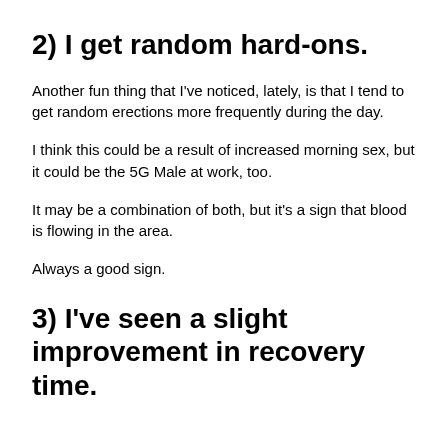2) I get random hard-ons.
Another fun thing that I've noticed, lately, is that I tend to get random erections more frequently during the day.
I think this could be a result of increased morning sex, but it could be the 5G Male at work, too.
It may be a combination of both, but it's a sign that blood is flowing in the area.
Always a good sign.
3) I've seen a slight improvement in recovery time.